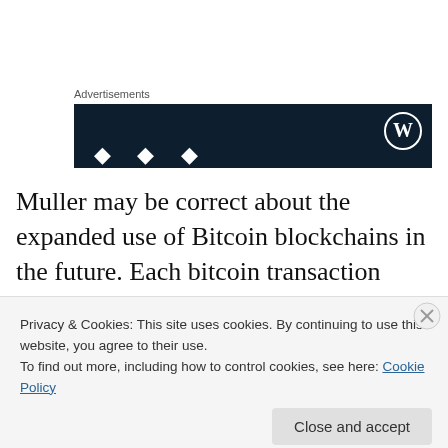Advertisements
[Figure (screenshot): Dark navy blue advertisement banner with WordPress logo (W in circle) in the top right corner and partial white text visible at the bottom.]
Muller may be correct about the expanded use of Bitcoin blockchains in the future. Each bitcoin transaction contains a two-part script before the transaction is verified and accepted. Not only is Bitcoin able to encode songs, it can
Privacy & Cookies: This site uses cookies. By continuing to use this website, you agree to their use.
To find out more, including how to control cookies, see here: Cookie Policy
Close and accept